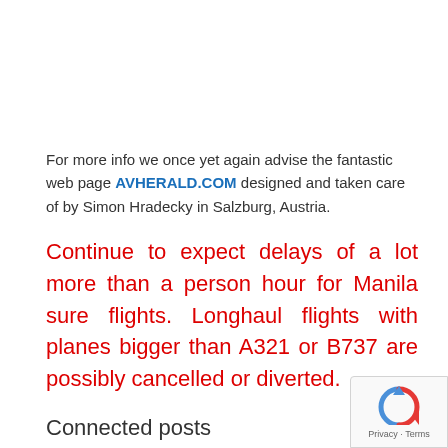For more info we once yet again advise the fantastic web page AVHERALD.COM designed and taken care of by Simon Hradecky in Salzburg, Austria.
Continue to expect delays of a lot more than a person hour for Manila sure flights. Longhaul flights with planes bigger than A321 or B737 are possibly cancelled or diverted.
Connected posts